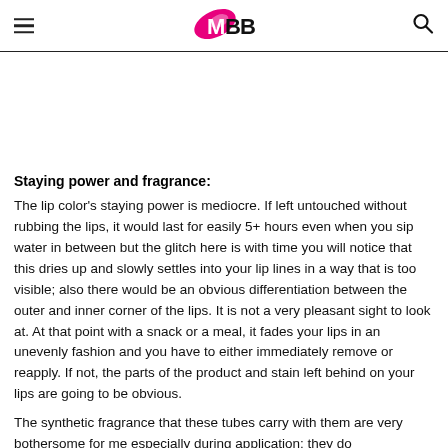IMBB
Staying power and fragrance:
The lip color's staying power is mediocre. If left untouched without rubbing the lips, it would last for easily 5+ hours even when you sip water in between but the glitch here is with time you will notice that this dries up and slowly settles into your lip lines in a way that is too visible; also there would be an obvious differentiation between the outer and inner corner of the lips. It is not a very pleasant sight to look at. At that point with a snack or a meal, it fades your lips in an unevenly fashion and you have to either immediately remove or reapply. If not, the parts of the product and stain left behind on your lips are going to be obvious.
The synthetic fragrance that these tubes carry with them are very bothersome for me especially during application; they do